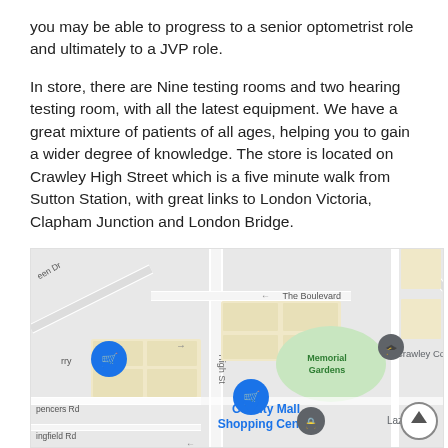you may be able to progress to a senior optometrist role and ultimately to a JVP role.
In store, there are Nine testing rooms and two hearing testing room, with all the latest equipment. We have a great mixture of patients of all ages, helping you to gain a wider degree of knowledge. The store is located on Crawley High Street which is a five minute walk from Sutton Station, with great links to London Victoria, Clapham Junction and London Bridge.
[Figure (map): Google Maps screenshot showing Crawley High Street area with County Mall Shopping Centre, Memorial Gardens, Crawley College, and other local landmarks visible. Blue shopping cart pins mark store locations. A scroll-to-top button (up arrow in circle) is visible in the bottom right.]